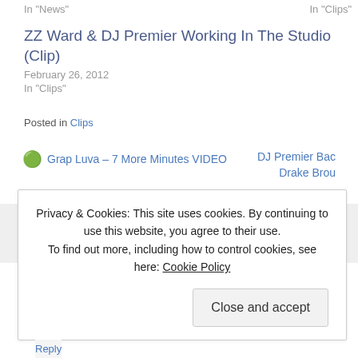In "News"
In "Clips"
ZZ Ward & DJ Premier Working In The Studio (Clip)
February 26, 2012
In "Clips"
Posted in Clips
← Grap Luva – 7 More Minutes VIDEO
DJ Premier Bac Drake Brou
You can follow any responses to this entr You can skip to the end and leave a response. Ping
•
Privacy & Cookies: This site uses cookies. By continuing to use this website, you agree to their use.
To find out more, including how to control cookies, see here: Cookie Policy
Close and accept
Reply